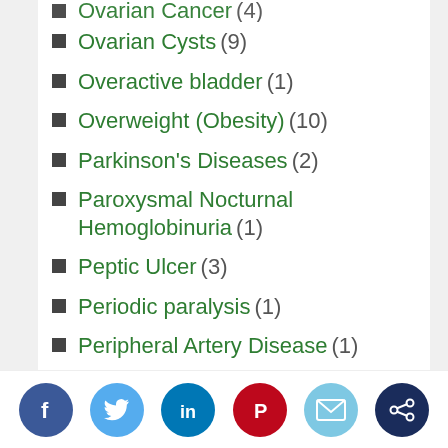Ovarian Cancer (4)
Ovarian Cysts (9)
Overactive bladder (1)
Overweight (Obesity) (10)
Parkinson's Diseases (2)
Paroxysmal Nocturnal Hemoglobinuria (1)
Peptic Ulcer (3)
Periodic paralysis (1)
Peripheral Artery Disease (1)
Pick's Disease (2)
Piles (7)
Plantar Fascia (1)
Social share bar: Facebook, Twitter, LinkedIn, Pinterest, Email, Share